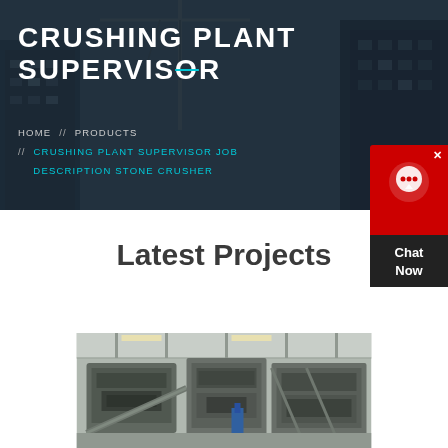CRUSHING PLANT SUPERVISOR
HOME // PRODUCTS // CRUSHING PLANT SUPERVISOR JOB DESCRIPTION STONE CRUSHER
Latest Projects
[Figure (photo): Industrial crushing plant machinery interior with conveyor systems and metal structures]